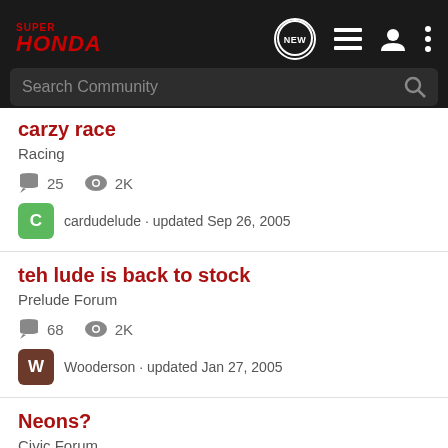Super Honda - Navigation bar with search
carzy race
Racing
25 comments, 2K views
cardudelude · updated Sep 26, 2005
teh lude is back to stock
Prelude Forum
68 comments, 2K views
Wooderson · updated Jan 27, 2005
Neons?
Civic Forum